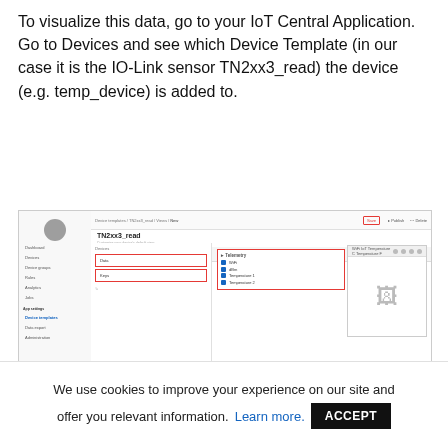To visualize this data, go to your IoT Central Application. Go to Devices and see which Device Template (in our case it is the IO-Link sensor TN2xx3_read) the device (e.g. temp_device) is added to.
[Figure (screenshot): Screenshot of IoT Central Application showing the TN2xx3_read device template with telemetry items (WiFi, dBm, Temperature 1, Temperature 2) highlighted in a red box, and navigation sidebar with Device Templates selected. Save button highlighted at bottom.]
[Figure (screenshot): Partial screenshot showing Devices section header with a circular icon.]
We use cookies to improve your experience on our site and offer you relevant information. Learn more. ACCEPT